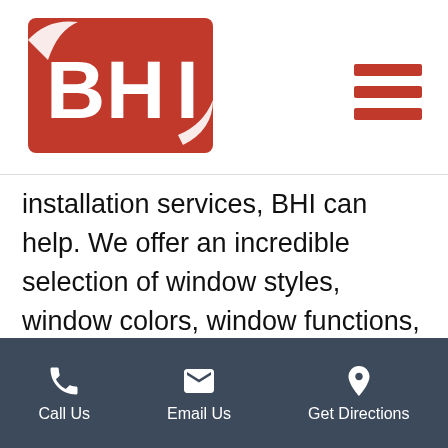[Figure (logo): BHI logo — red background with white letters BHI and a white swoosh/arc]
installation services, BHI can help. We offer an incredible selection of window styles, window colors, window functions, and window replacement and installation services that Hazelwood residents have come to depend upon. For more information on our window replacement services, costs, and window installation time, call or
Call Us   Email Us   Get Directions